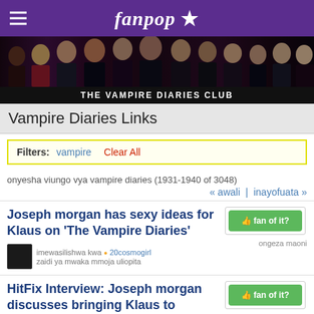fanpop
[Figure (photo): The Vampire Diaries cast promotional banner photo]
THE VAMPIRE DIARIES CLUB
Vampire Diaries Links
Filters: vampire  Clear All
onyesha viungo vya vampire diaries (1931-1940 of 3048)
« awali  |  inayofuata »
Joseph morgan has sexy ideas for Klaus on 'The Vampire Diaries'
imewasilishwa kwa 20cosmogirl
zaidi ya mwaka mmoja uliopita
ongeza maoni
HitFix Interview: Joseph morgan discusses bringing Klaus to 'Vampire Diaries'
Klaus is going to take a special interest in Stefan Salvatore
ongeza maoni